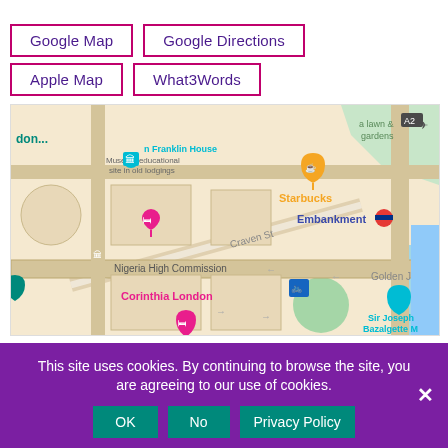Google Map
Google Directions
Apple Map
What3Words
[Figure (map): Google Maps view showing Embankment area in London, including landmarks: Benjamin Franklin House (Museum/educational site in old lodgings), Starbucks, Embankment tube station, Nigeria High Commission, Corinthia London hotel, Sir Joseph Bazalgette M. Street label: Craven St, Golden J visible. Map pins in teal, pink, orange, grey, teal colors.]
This site uses cookies. By continuing to browse the site, you are agreeing to our use of cookies.
OK
No
Privacy Policy